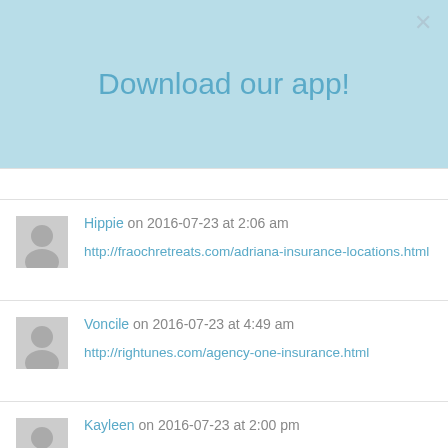Download our app!
Hippie on 2016-07-23 at 2:06 am
http://fraochretreats.com/adriana-insurance-locations.html
Voncile on 2016-07-23 at 4:49 am
http://rightunes.com/agency-one-insurance.html
Kayleen on 2016-07-23 at 2:00 pm
http://a1controllers.com/quote-for-building-insurance.html